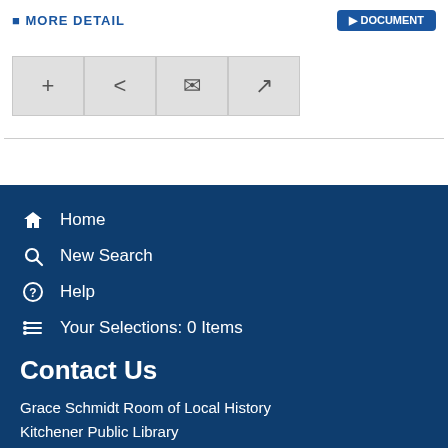[Figure (screenshot): Navigation icon buttons: add (+), share, email (envelope), and external link icons in grey boxes]
Home
New Search
Help
Your Selections: 0 Items
Contact Us
Grace Schmidt Room of Local History
Kitchener Public Library
85 Queen St N
Kitchener, ON N2H 2H1